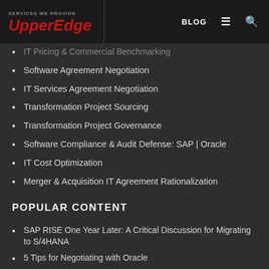SERVICES WE PROVIDE | UpperEdge | BLOG
IT Pricing & Commercial Benchmarking
Software Agreement Negotiation
IT Services Agreement Negotiation
Transformation Project Sourcing
Transformation Project Governance
Software Compliance & Audit Defense: SAP | Oracle
IT Cost Optimization
Merger & Acquisition IT Agreement Rationalization
POPULAR CONTENT
SAP RISE One Year Later: A Critical Discussion for Migrating to S/4HANA
5 Tips for Negotiating with Oracle
[White Paper] The Ultimate Guide to Salesforce Renewal Negotiations